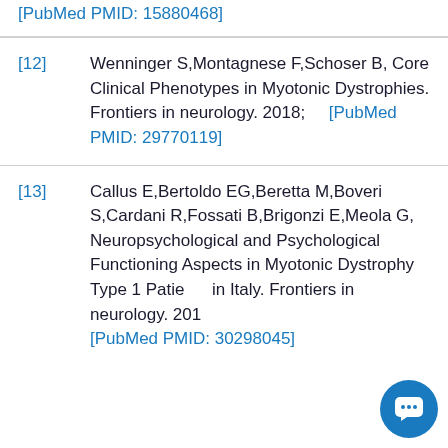[PubMed PMID: 15880468]
[12] Wenninger S,Montagnese F,Schoser B, Core Clinical Phenotypes in Myotonic Dystrophies. Frontiers in neurology. 2018; [PubMed PMID: 29770119]
[13] Callus E,Bertoldo EG,Beretta M,Boveri S,Cardani R,Fossati B,Brigonzi E,Meola G, Neuropsychological and Psychological Functioning Aspects in Myotonic Dystrophy Type 1 Patients in Italy. Frontiers in neurology. 2018 [PubMed PMID: 30298045]